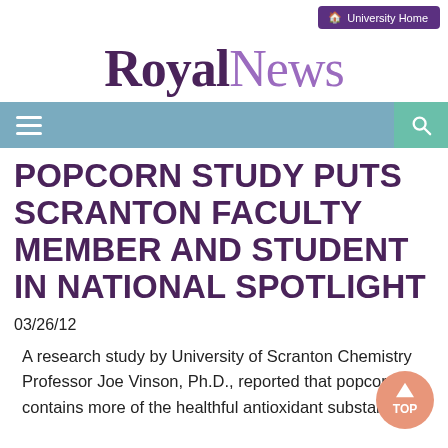University Home
Royal News
[Figure (screenshot): Navigation bar with hamburger menu icon on the left and search icon on the right, teal/steel blue background]
POPCORN STUDY PUTS SCRANTON FACULTY MEMBER AND STUDENT IN NATIONAL SPOTLIGHT
03/26/12
A research study by University of Scranton Chemistry Professor Joe Vinson, Ph.D., reported that popcorn contains more of the healthful antioxidant substances